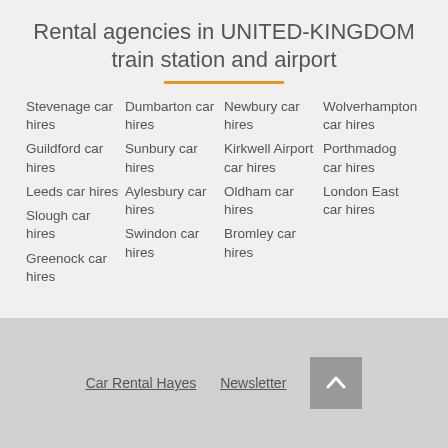Rental agencies in UNITED-KINGDOM train station and airport
Stevenage car hires
Guildford car hires
Leeds car hires
Slough car hires
Greenock car hires
Dumbarton car hires
Sunbury car hires
Aylesbury car hires
Swindon car hires
Newbury car hires
Kirkwell Airport car hires
Oldham car hires
Bromley car hires
Wolverhampton car hires
Porthmadog car hires
London East car hires
Car Rental Hayes   Newsletter